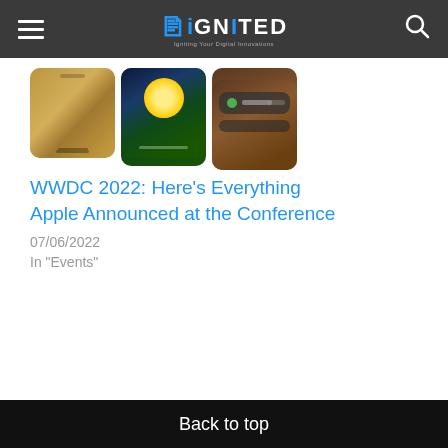iGNITED – site header with hamburger menu and search icon
[Figure (photo): Three iPhone screenshots side by side: first shows a gold metallic back, second shows iOS 16 style wallpaper with sun/earth, third shows a dark wallpaper with a widget bar]
WWDC 2022: Here's Everything Apple Announced at the Conference
07/06/2022
In "Events"
Back to top